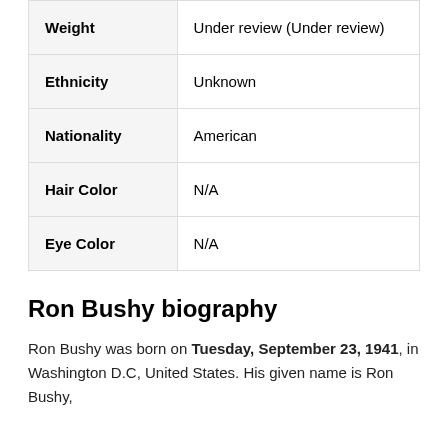| Weight | Under review (Under review) |
| Ethnicity | Unknown |
| Nationality | American |
| Hair Color | N/A |
| Eye Color | N/A |
Ron Bushy biography
Ron Bushy was born on Tuesday, September 23, 1941, in Washington D.C, United States. His given name is Ron Bushy,